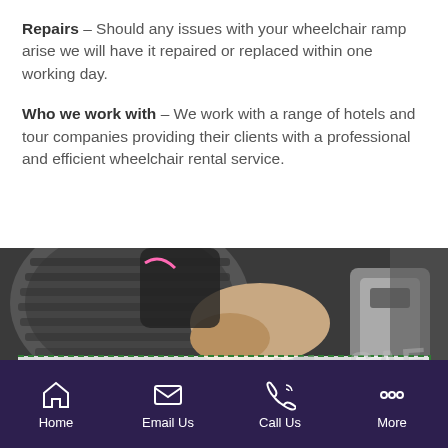Repairs – Should any issues with your wheelchair ramp arise we will have it repaired or replaced within one working day.
Who we work with – We work with a range of hotels and tour companies providing their clients with a professional and efficient wheelchair rental service.
[Figure (photo): Close-up photo of a hand working on a wheelchair wheel/tire, dark background, with a white semi-transparent watermark overlay box with green dashed border containing repeated 'SAE' watermark text]
Home  Email Us  Call Us  More